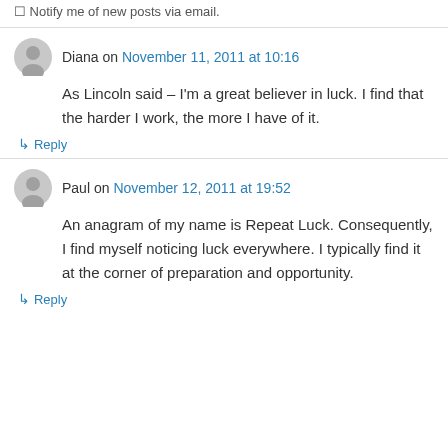Notify me of new posts via email.
Diana on November 11, 2011 at 10:16
As Lincoln said – I'm a great believer in luck. I find that the harder I work, the more I have of it.
↳ Reply
Paul on November 12, 2011 at 19:52
An anagram of my name is Repeat Luck. Consequently, I find myself noticing luck everywhere. I typically find it at the corner of preparation and opportunity.
↳ Reply